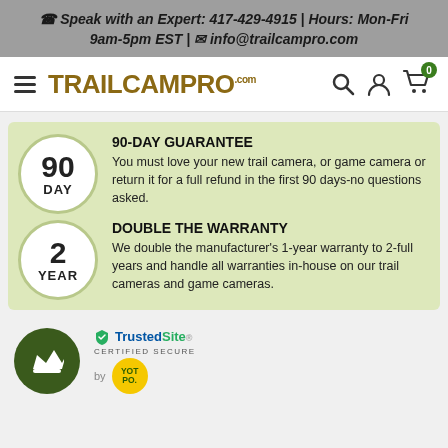Speak with an Expert: 417-429-4915 | Hours: Mon-Fri 9am-5pm EST | info@trailcampro.com
[Figure (logo): TrailCamPro logo with hamburger menu icon and navigation icons (search, account, cart with 0 badge)]
[Figure (infographic): 90-Day Guarantee and Double The Warranty promotional box with circular badges showing '90 DAY' and '2 YEAR']
90-DAY GUARANTEE
You must love your new trail camera, or game camera or return it for a full refund in the first 90 days-no questions asked.
DOUBLE THE WARRANTY
We double the manufacturer’s 1-year warranty to 2-full years and handle all warranties in-house on our trail cameras and game cameras.
[Figure (logo): Yotpo crown logo circle (dark green), TrustedSite Certified Secure badge, and Yotpo yellow circle logo]